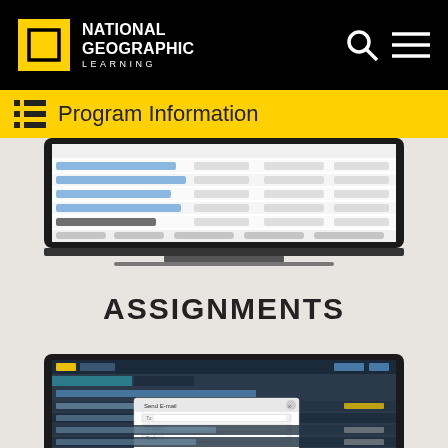National Geographic Learning
Program Information
[Figure (screenshot): Laptop showing a course assignment table with rows of assignments listed with blue hyperlinks, columns for assignment name, type, and dates. Text is blurred.]
ASSIGNMENTS
[Figure (screenshot): Laptop showing an LT platform interface with a dialog box open for sending an email to a student, with fields for To, Subject, and Body, and a Send Email button. Background shows assignment rows in a teal/dark themed interface.]